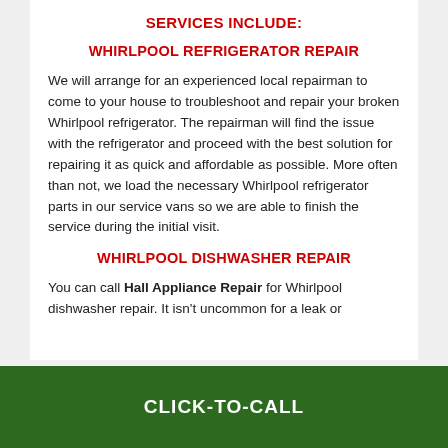SERVICES INCLUDE:
WHIRLPOOL REFRIGERATOR REPAIR
We will arrange for an experienced local repairman to come to your house to troubleshoot and repair your broken Whirlpool refrigerator. The repairman will find the issue with the refrigerator and proceed with the best solution for repairing it as quick and affordable as possible. More often than not, we load the necessary Whirlpool refrigerator parts in our service vans so we are able to finish the service during the initial visit.
WHIRLPOOL DISHWASHER REPAIR
You can call Hall Appliance Repair for Whirlpool dishwasher repair. It isn't uncommon for a leak or
CLICK-TO-CALL